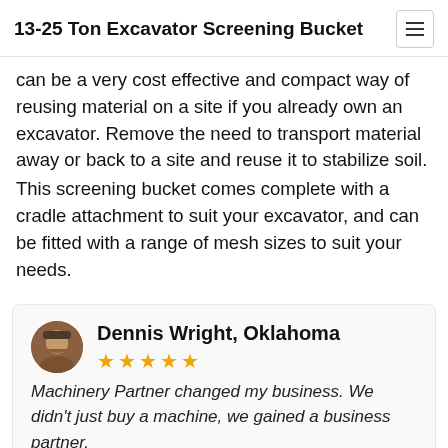13-25 Ton Excavator Screening Bucket
can be a very cost effective and compact way of reusing material on a site if you already own an excavator. Remove the need to transport material away or back to a site and reuse it to stabilize soil.
This screening bucket comes complete with a cradle attachment to suit your excavator, and can be fitted with a range of mesh sizes to suit your needs.
Dennis Wright, Oklahoma
★★★★★
Machinery Partner changed my business. We didn't just buy a machine, we gained a business partner.